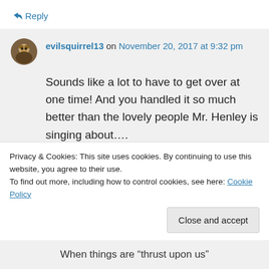↪ Reply
evilsquirrel13 on November 20, 2017 at 9:32 pm
Sounds like a lot to have to get over at one time! And you handled it so much better than the lovely people Mr. Henley is singing about….
Privacy & Cookies: This site uses cookies. By continuing to use this website, you agree to their use.
To find out more, including how to control cookies, see here: Cookie Policy
Close and accept
When things are “thrust upon us”